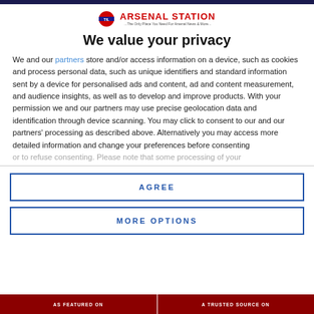[Figure (logo): Arsenal Station logo with London Underground roundel icon and brand name with tagline]
We value your privacy
We and our partners store and/or access information on a device, such as cookies and process personal data, such as unique identifiers and standard information sent by a device for personalised ads and content, ad and content measurement, and audience insights, as well as to develop and improve products. With your permission we and our partners may use precise geolocation data and identification through device scanning. You may click to consent to our and our partners' processing as described above. Alternatively you may access more detailed information and change your preferences before consenting or to refuse consenting. Please note that some processing of your
AGREE
MORE OPTIONS
[Figure (infographic): Bottom banner with two sections: AS FEATURED ON (left, dark red) and A TRUSTED SOURCE ON (right, dark red)]